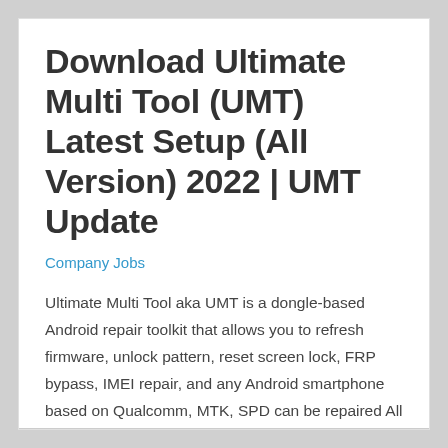Download Ultimate Multi Tool (UMT) Latest Setup (All Version) 2022 | UMT Update
Company Jobs
Ultimate Multi Tool aka UMT is a dongle-based Android repair toolkit that allows you to refresh firmware, unlock pattern, reset screen lock, FRP bypass, IMEI repair, and any Android smartphone based on Qualcomm, MTK, SPD can be repaired All questions. In the following topics, I have collected all the latest version of Ultimate Multi Tool …
Read More »